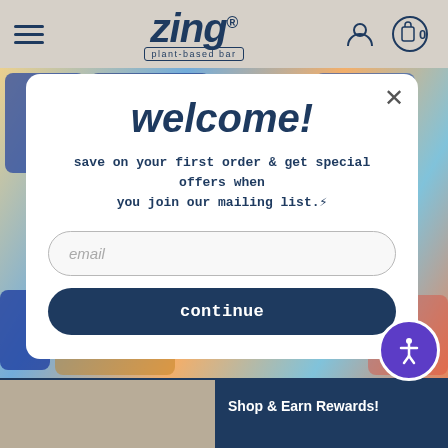zing® plant-based bar — navigation header with hamburger menu, logo, user icon, and cart (0)
[Figure (screenshot): Colorful product packaging images in the background behind the modal popup]
welcome!
save on your first order & get special offers when you join our mailing list.⚡
email (input field placeholder)
continue
Shop & Earn Rewards!